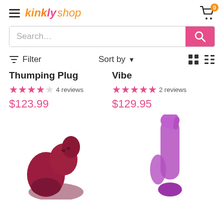kinkly shop — cart: 0
Search...
Filter   Sort by   (grid/list view icons)
Thumping Plug
4 stars (4.5/5) — 4 reviews
$123.99
Vibe
4.5 stars — 2 reviews
$129.95
[Figure (photo): Dark red/maroon thumping plug product photo, partially visible at bottom of page]
[Figure (photo): Purple rabbit vibrator product photo, partially visible at bottom right of page]